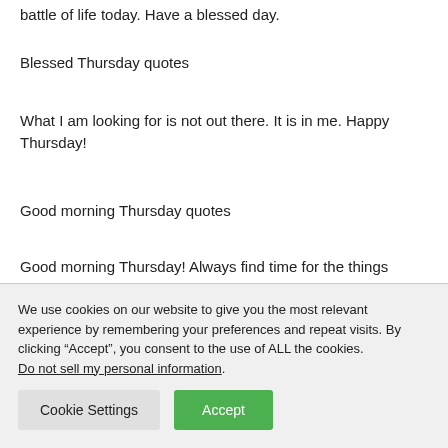battle of life today. Have a blessed day.
Blessed Thursday quotes
What I am looking for is not out there. It is in me. Happy Thursday!
Good morning Thursday quotes
Good morning Thursday! Always find time for the things
We use cookies on our website to give you the most relevant experience by remembering your preferences and repeat visits. By clicking “Accept”, you consent to the use of ALL the cookies. Do not sell my personal information.